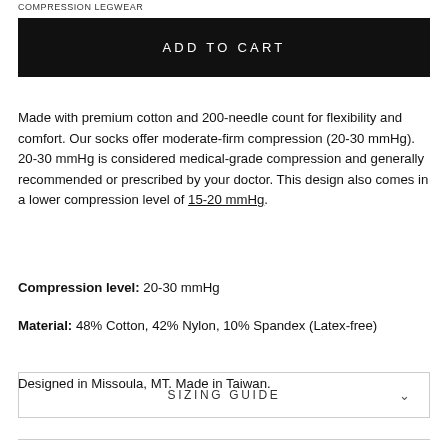COMPRESSION LEGWEAR
ADD TO CART
Made with premium cotton and 200-needle count for flexibility and comfort. Our socks offer moderate-firm compression (20-30 mmHg). 20-30 mmHg is considered medical-grade compression and generally recommended or prescribed by your doctor. This design also comes in a lower compression level of 15-20 mmHg.
Compression level: 20-30 mmHg
Material: 48% Cotton, 42% Nylon, 10% Spandex (Latex-free)
Designed in Missoula, MT. Made in Taiwan.
SIZING GUIDE